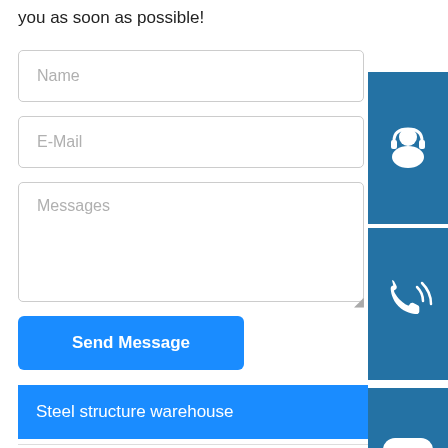you as soon as possible!
Name
E-Mail
Messages
[Figure (illustration): Blue square button with white customer support headset and person silhouette icon]
[Figure (illustration): Blue square button with white telephone/call icon with signal waves]
[Figure (illustration): Blue square button with white Skype logo 'S' icon]
Send Message
Steel structure warehouse
hot sale steel structural fabrication construction style poultry farm house Beve
hot dip galvanize build steel building Painting